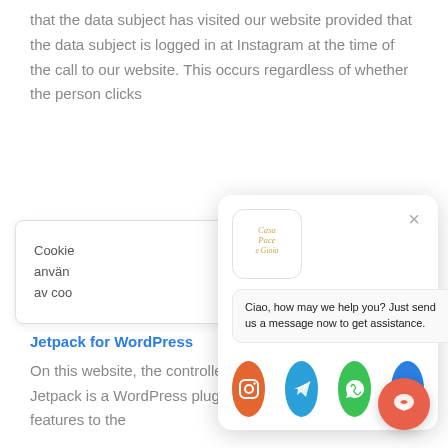that the data subject has visited our website provided that the data subject is logged in at Instagram at the time of the call to our website. This occurs regardless of whether the person clicks
[Figure (screenshot): Chat widget popup from Casa Pace e Gioia with message 'Ciao, how may we help you? Just send us a message now to get assistance.' and four social media buttons: Instagram (orange), Telegram (blue), WhatsApp (green), Messenger (blue)]
Cookie
använ
av coo
Jetpack for WordPress
On this website, the controller has integrated Jetpack. Jetpack is a WordPress plug-in, which provides additional features to the